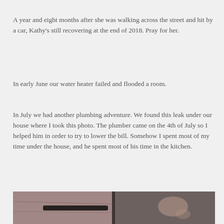A year and eight months after she was walking across the street and hit by a car, Kathy's still recovering at the end of 2018. Pray for her.
In early June our water heater failed and flooded a room.
In July we had another plumbing adventure. We found this leak under our house where I took this photo. The plumber came on the 4th of July so I helped him in order to try to lower the bill. Somehow I spent most of my time under the house, and he spent most of his time in the kitchen.
[Figure (photo): A dark photo taken under a house showing a pipe and surroundings, dim lighting with brownish and dark tones.]